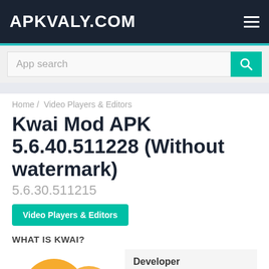APKVALY.COM
App search
Home / Video Players & Editors
Kwai Mod APK 5.6.40.511228 (Without watermark)
5.6.30.511215
Video Players & Editors
WHAT IS KWAI?
[Figure (logo): Kwai app icon — orange infinity/figure-eight loop shape on white background]
Developer
KWAI
Maximum